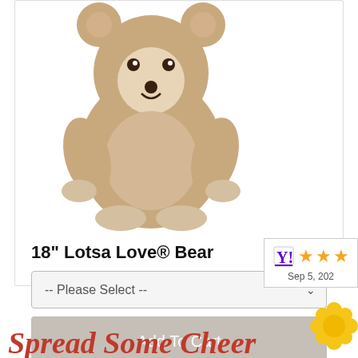[Figure (photo): A plush tan/beige teddy bear sitting upright with a checkered bow tie, white underbelly and paws]
18" Lotsa Love® Bear
-- Please Select --
Add To Cart
[Figure (other): Rating badge showing Yahoo logo, 3 orange stars, and date Sep 5, 202]
Spread Some Cheer